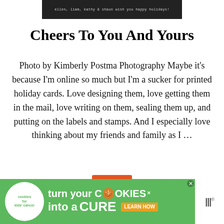[Figure (photo): Dark banner image with text 'ellen, liam, kathy & shaun wish you happy holidays!']
Cheers To You And Yours
Photo by Kimberly Postma Photography Maybe it's because I'm online so much but I'm a sucker for printed holiday cards. Love designing them, love getting them in the mail, love writing on them, sealing them up, and putting on the labels and stamps. And I especially love thinking about my friends and family as I …
[Figure (other): Advertisement banner: cookies for kids' cancer - turn your COOKIES into a CURE LEARN HOW]